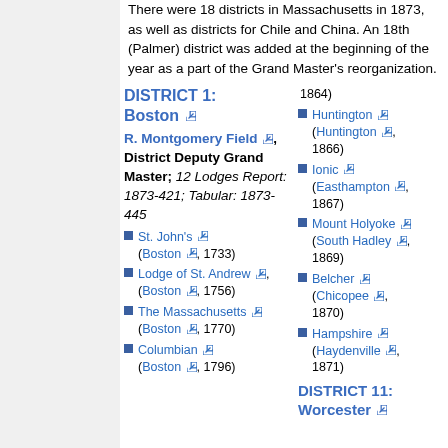There were 18 districts in Massachusetts in 1873, as well as districts for Chile and China. An 18th (Palmer) district was added at the beginning of the year as a part of the Grand Master's reorganization.
DISTRICT 1: Boston
R. Montgomery Field, District Deputy Grand Master; 12 Lodges Report: 1873-421; Tabular: 1873-445
St. John's (Boston, 1733)
Lodge of St. Andrew, (Boston, 1756)
The Massachusetts (Boston, 1770)
Columbian (Boston, 1796)
1864)
Huntington (Huntington, 1866)
Ionic (Easthampton, 1867)
Mount Holyoke (South Hadley, 1869)
Belcher (Chicopee, 1870)
Hampshire (Haydenville, 1871)
DISTRICT 11: Worcester